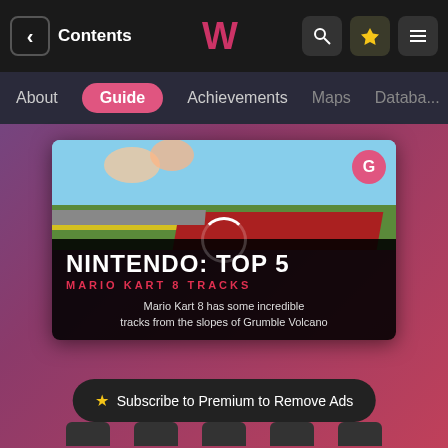Contents | [Logo] | [Search] [Star] [Menu]
About | Guide | Achievements | Maps | Database
[Figure (screenshot): Video thumbnail for Nintendo: Top 5 Mario Kart 8 Tracks. Shows a racing game scene at the top with sky and track, and text overlay reading 'NINTENDO: TOP 5' in white bold uppercase, 'MARIO KART 8 TRACKS' in red uppercase below, with subtitle text 'Mario Kart 8 has some incredible tracks from the slopes of Grumble Volcano'. A red G icon is in the top right corner.]
Mario Kart 8 has some incredible tracks from the slopes of Grumble Volcano
★ Subscribe to Premium to Remove Ads